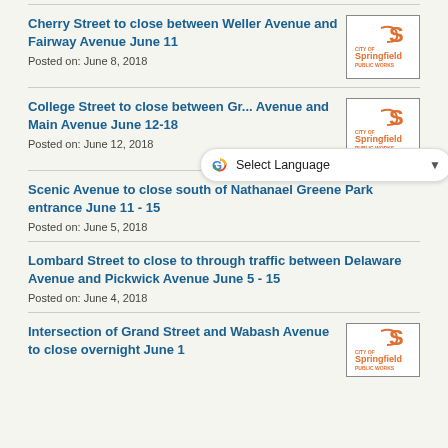Cherry Street to close between Weller Avenue and Fairway Avenue June 11
Posted on: June 8, 2018
[Figure (logo): City of Springfield Public Works logo]
College Street to close between G... Avenue and Main Avenue June 12-18
Posted on: June 12, 2018
[Figure (logo): City of Springfield Public Works logo]
Scenic Avenue to close south of Nathanael Greene Park entrance June 11 - 15
Posted on: June 5, 2018
Lombard Street to close to through traffic between Delaware Avenue and Pickwick Avenue June 5 - 15
Posted on: June 4, 2018
Intersection of Grand Street and Wabash Avenue to close overnight June 1
[Figure (logo): City of Springfield Public Works logo]